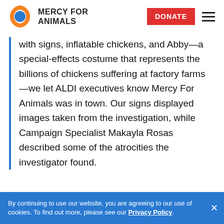MERCY FOR ANIMALS
with signs, inflatable chickens, and Abby—a special-effects costume that represents the billions of chickens suffering at factory farms—we let ALDI executives know Mercy For Animals was in town. Our signs displayed images taken from the investigation, while Campaign Specialist Makayla Rosas described some of the atrocities the investigator found.
By continuing to use our website, you are agreeing to our use of cookies. To find out more, please see our Privacy Policy.